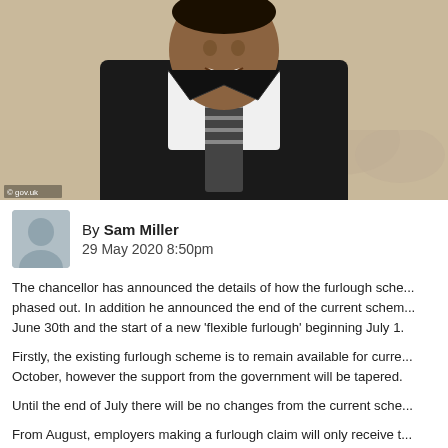[Figure (photo): Portrait photo of a man in a dark suit and striped tie, smiling, standing in front of an ornate stone mantelpiece. Copyright mark: © gov.uk]
By Sam Miller
29 May 2020 8:50pm
The chancellor has announced the details of how the furlough scheme will be phased out. In addition he announced the end of the current scheme on June 30th and the start of a new 'flexible furlough' beginning July 1.
Firstly, the existing furlough scheme is to remain available for current until October, however the support from the government will be tapered.
Until the end of July there will be no changes from the current scheme.
From August, employers making a furlough claim will only receive the employee gross income (up to a £2,500 cap). They will not however